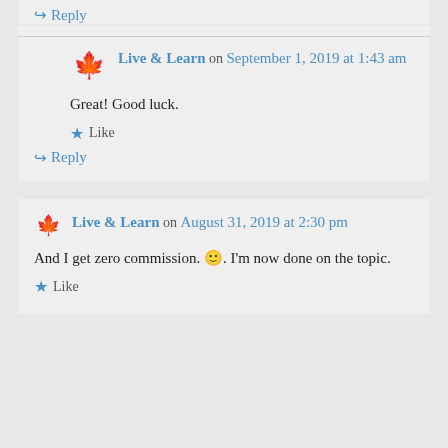↪ Reply
Live & Learn on September 1, 2019 at 1:43 am
Great! Good luck.
★ Like
↪ Reply
Live & Learn on August 31, 2019 at 2:30 pm
And I get zero commission. 🙂. I'm now done on the topic.
★ Like